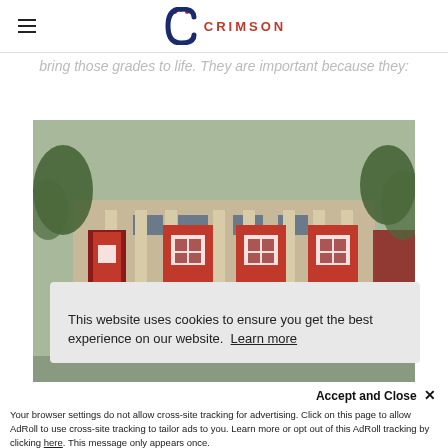CRIMSON
bring those grades to life. They are important because they:
[Figure (photo): Photograph of Harvard University building facade with red banners/shields hanging between large columns, trees in background]
This website uses cookies to ensure you get the best experience on our website. Learn more
Accept and Close ✕
Your browser settings do not allow cross-site tracking for advertising. Click on this page to allow AdRoll to use cross-site tracking to tailor ads to you. Learn more or opt out of this AdRoll tracking by clicking here. This message only appears once.